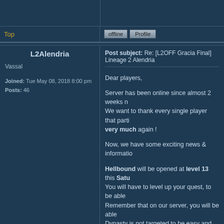Top | offline | Profile
L2Alendria
Post subject: Re: [L2OFF Gracia Final] Lineage 2 Alendria
Vassal
Joined: Tue May 08, 2018 8:00 pm
Posts: 46
Dear players,

Server has been online since almost 2 weeks now. We want to thank every single player that parti... very much again !

Now, we have some exciting news & informatio...

Hellbound will be opened at level 13 this Satu... You will have to level up your quest, to be able... Remember that on our server, you will be able... Dynasty is not targeted to be easy and fast to o... Since it will be top grade for the moment, Hellb...

Starting Wednesday 6 (tomorrow), we will ma... In order to help new players, we will add a XP ... For all new clan, we will set your clan to level ... Discord to get it).